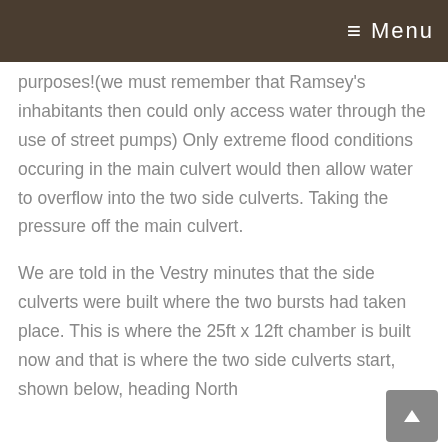≡ Menu
purposes!(we must remember that Ramsey's inhabitants then could only access water through the use of street pumps) Only extreme flood conditions occuring in the main culvert would then allow water to overflow into the two side culverts. Taking the pressure off the main culvert.
We are told in the Vestry minutes that the side culverts were built where the two bursts had taken place. This is where the 25ft x 12ft chamber is built now and that is where the two side culverts start, shown below, heading North